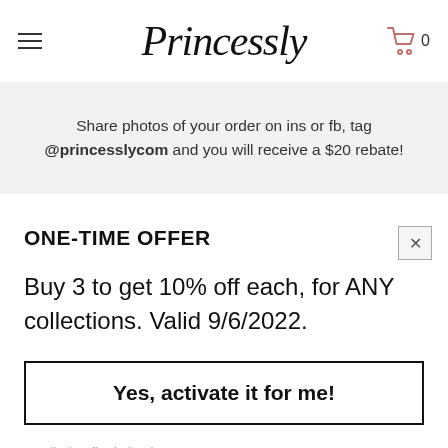Princessly
Share photos of your order on ins or fb, tag @princesslycom and you will receive a $20 rebate!
ONE-TIME OFFER
Buy 3 to get 10% off each, for ANY collections. Valid 9/6/2022.
Yes, activate it for me!
Applied at final checkout